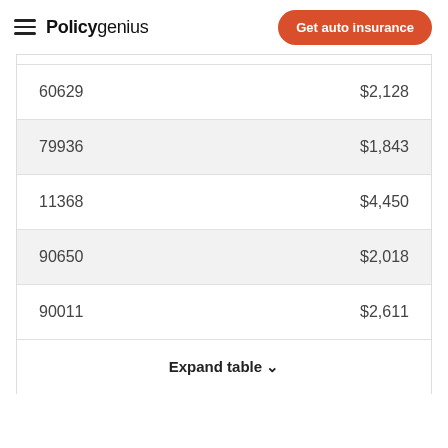Policygenius | Get auto insurance
| ZIP Code | Rate |
| --- | --- |
| 60629 | $2,128 |
| 79936 | $1,843 |
| 11368 | $4,450 |
| 90650 | $2,018 |
| 90011 | $2,611 |
Expand table